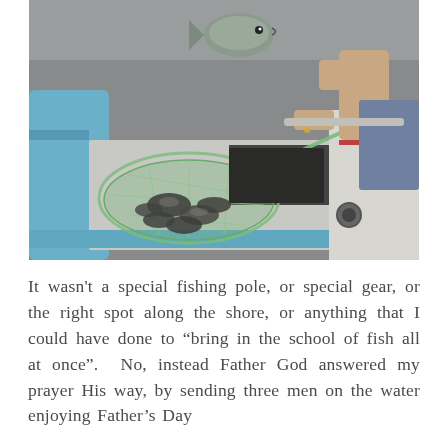[Figure (photo): A person holding up a fish (crappie or similar panfish) above a fishing boat deck. On the boat deck there is a green fishing net filled with multiple fish. The boat is light colored with blue trim. Another person is visible on the right side of the boat.]
It wasn't a special fishing pole, or special gear, or the right spot along the shore, or anything that I could have done to "bring in the school of fish all at once".  No, instead Father God answered my prayer His way, by sending three men on the water enjoying Father's Day